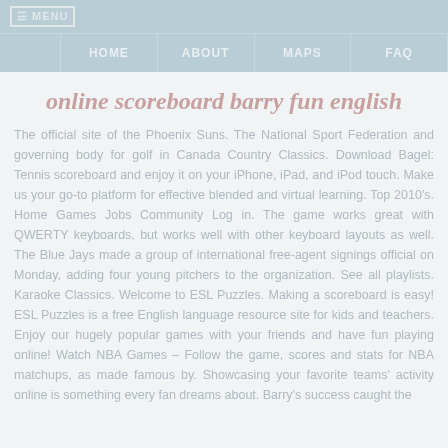MENU
HOME | ABOUT | MAPS | FAQ
online scoreboard barry fun english
The official site of the Phoenix Suns. The National Sport Federation and governing body for golf in Canada Country Classics. Download Bagel: Tennis scoreboard and enjoy it on your iPhone, iPad, and iPod touch. Make us your go-to platform for effective blended and virtual learning. Top 2010’s. Home Games Jobs Community Log in. The game works great with QWERTY keyboards, but works well with other keyboard layouts as well. The Blue Jays made a group of international free-agent signings official on Monday, adding four young pitchers to the organization. See all playlists. Karaoke Classics. Welcome to ESL Puzzles. Making a scoreboard is easy! ESL Puzzles is a free English language resource site for kids and teachers. Enjoy our hugely popular games with your friends and have fun playing online! Watch NBA Games – Follow the game, scores and stats for NBA matchups, as made famous by. Showcasing your favorite teams’ activity online is something every fan dreams about. Barry’s success caught the